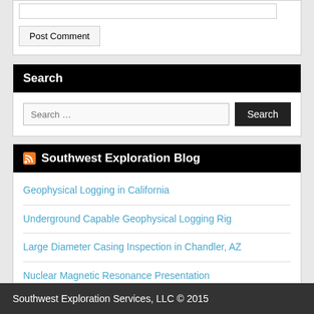[Post Comment button area with input field]
Search
Search …
Southwest Exploration Blog
Geophysical Logging in California
Underground Capable Geophysical Logging Rig
Large Diameter Casing Inspection in Chandler, AZ
Nuclear Magnetic Resonance Presentation
Field Testing the Cutting Edge Nuclear Magnetic Resonance (NMR) Tool from Vista Clara
Southwest Exploration Services, LLC © 2015